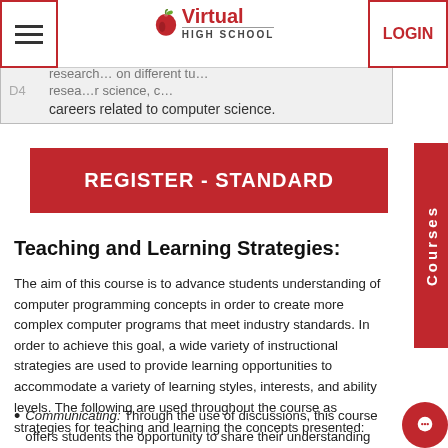Virtual High School — navigation header with hamburger menu and LOGIN button
| D4 | Text |
| --- | --- |
|  | research… on different tu… |
| D4 | resea… r science, c… |
|  | careers related to computer science. |
REGISTER - STANDARD
Teaching and Learning Strategies:
The aim of this course is to advance students understanding of computer programming concepts in order to create more complex computer programs that meet industry standards. In order to achieve this goal, a wide variety of instructional strategies are used to provide learning opportunities to accommodate a variety of learning styles, interests, and ability levels. The following are used throughout the course as strategies for teaching and learning the concepts presented:
Communicating: Through the use of discussions, this course offers students the opportunity to share their understanding both in oral as well as written form…